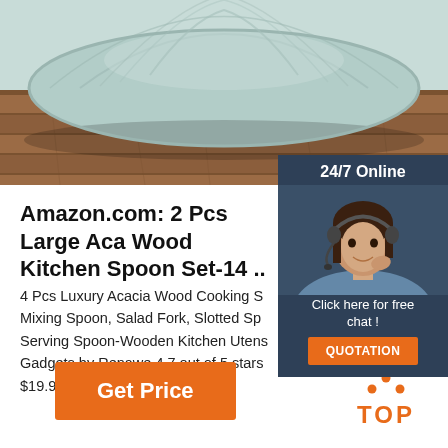[Figure (photo): Product photo showing a large mint/sage green ceramic bowl on a wooden surface, viewed from above at an angle. Only the bottom portion of the bowl is visible.]
[Figure (photo): Chat widget showing a woman with headset smiling, with '24/7 Online' header, 'Click here for free chat!' text, and an orange QUOTATION button, dark blue background.]
Amazon.com: 2 Pcs Large Aca Wood Kitchen Spoon Set-14 ..
4 Pcs Luxury Acacia Wood Cooking S Mixing Spoon, Salad Fork, Slotted Sp Serving Spoon-Wooden Kitchen Utens Gadgets by Renawe 4.7 out of 5 stars $19.99
[Figure (other): Orange 'Get Price' button]
[Figure (logo): TOP logo with orange dots forming a triangle above the text TOP in orange]